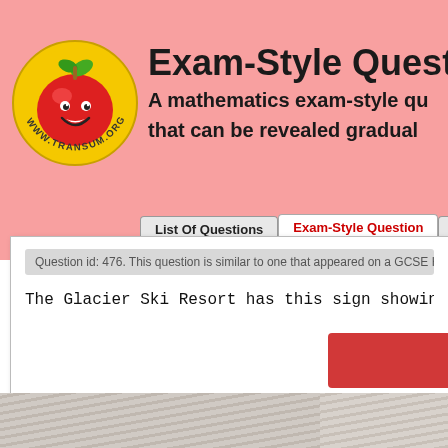[Figure (logo): Transum.org logo — a yellow circle with a red apple and green leaf, smiling cartoon face, text WWW.TRANSUM.ORG around the border]
Exam-Style Question
A mathematics exam-style question that can be revealed gradually
List Of Questions | Exam-Style Question | Mo...
Question id: 476. This question is similar to one that appeared on a GCSE High...
The Glacier Ski Resort has this sign showing the safety limit...